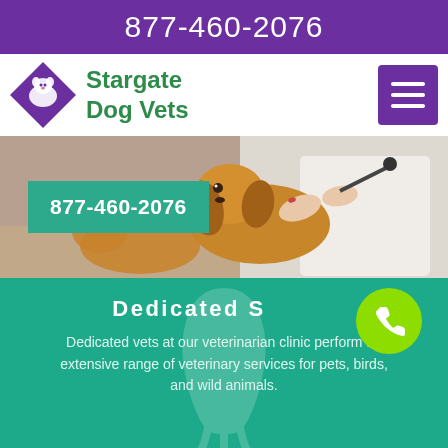877-460-2076
Stargate Dog Vets
[Figure (screenshot): Veterinarian in white coat examining a small dog (likely Cavalier King Charles Spaniel) with a stethoscope on a table. Another dog visible in foreground.]
877-460-2076
Dedicated S
Dedicated vets at our veterinarian clinic perform an extensive range of veterinary services for pets, birds, and wild animals.